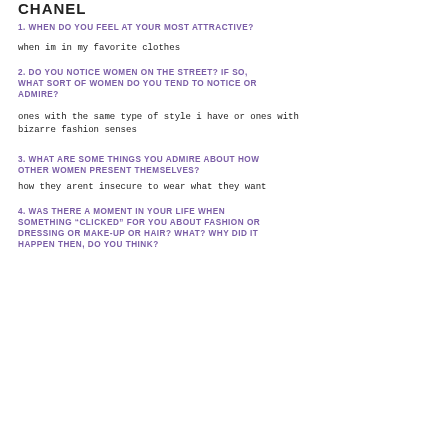CHANEL
1. WHEN DO YOU FEEL AT YOUR MOST ATTRACTIVE?
when im in my favorite clothes
2. DO YOU NOTICE WOMEN ON THE STREET? IF SO, WHAT SORT OF WOMEN DO YOU TEND TO NOTICE OR ADMIRE?
ones with the same type of style i have or ones with bizarre fashion senses
3. WHAT ARE SOME THINGS YOU ADMIRE ABOUT HOW OTHER WOMEN PRESENT THEMSELVES?
how they arent insecure to wear what they want
4. WAS THERE A MOMENT IN YOUR LIFE WHEN SOMETHING “CLICKED” FOR YOU ABOUT FASHION OR DRESSING OR MAKE-UP OR HAIR? WHAT? WHY DID IT HAPPEN THEN, DO YOU THINK?